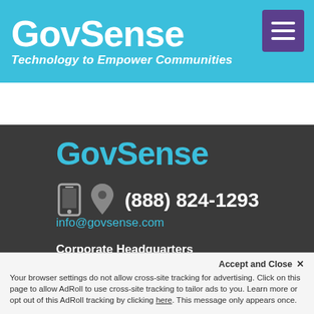[Figure (logo): GovSense logo in white on cyan/teal header bar with tagline 'Technology to Empower Communities']
[Figure (logo): GovSense logo in teal on dark background footer section]
(888) 824-1293
info@govsense.com
Corporate Headquarters
11675 Great Oaks Way - Suite 285
Alpharetta, GA 30022
Accept and Close ✕
Your browser settings do not allow cross-site tracking for advertising. Click on this page to allow AdRoll to use cross-site tracking to tailor ads to you. Learn more or opt out of this AdRoll tracking by clicking here. This message only appears once.